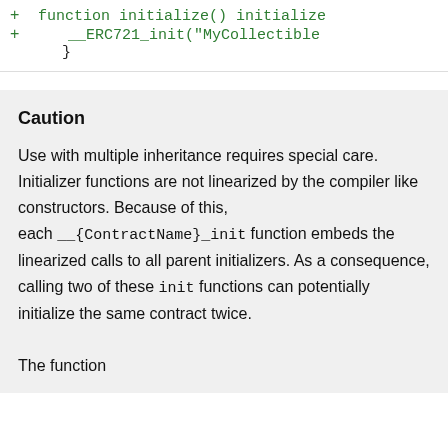+ function initialize() initialize
+     __ERC721_init("MyCollectible
    }
Caution
Use with multiple inheritance requires special care. Initializer functions are not linearized by the compiler like constructors. Because of this, each __{ContractName}_init function embeds the linearized calls to all parent initializers. As a consequence, calling two of these init functions can potentially initialize the same contract twice.

The function